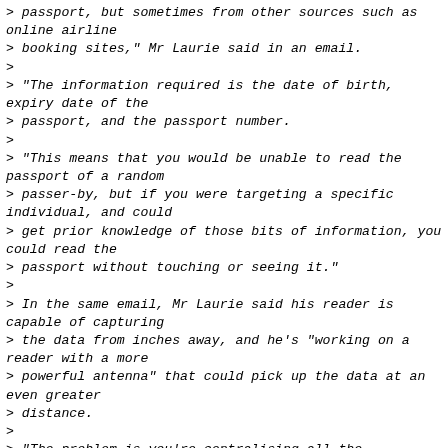> passport, but sometimes from other sources such as online airline
> booking sites," Mr Laurie said in an email.
>
> "The information required is the date of birth, expiry date of the
> passport, and the passport number.
>
> "This means that you would be unable to read the passport of a random
> passer-by, but if you were targeting a specific individual, and could
> get prior knowledge of those bits of information, you could read the
> passport without touching or seeing it."
>
> In the same email, Mr Laurie said his reader is capable of capturing
> the data from inches away, and he's "working on a reader with a more
> powerful antenna" that could pick up the data at an even greater
> distance.
>
> "The problem is you're centralising all the information an identity
> thief needs in order to try and steal your identity," Mr Laurie told
> ABC radio's AM program last week.
>